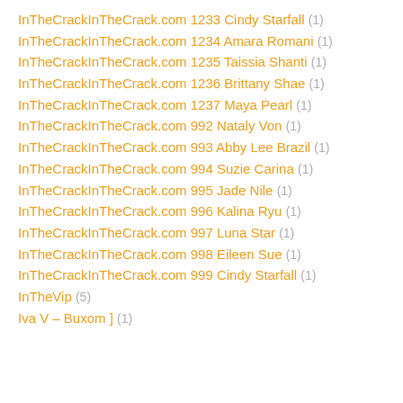InTheCrackInTheCrack.com 1233 Cindy Starfall (1)
InTheCrackInTheCrack.com 1234 Amara Romani (1)
InTheCrackInTheCrack.com 1235 Taissia Shanti (1)
InTheCrackInTheCrack.com 1236 Brittany Shae (1)
InTheCrackInTheCrack.com 1237 Maya Pearl (1)
InTheCrackInTheCrack.com 992 Nataly Von (1)
InTheCrackInTheCrack.com 993 Abby Lee Brazil (1)
InTheCrackInTheCrack.com 994 Suzie Carina (1)
InTheCrackInTheCrack.com 995 Jade Nile (1)
InTheCrackInTheCrack.com 996 Kalina Ryu (1)
InTheCrackInTheCrack.com 997 Luna Star (1)
InTheCrackInTheCrack.com 998 Eileen Sue (1)
InTheCrackInTheCrack.com 999 Cindy Starfall (1)
InTheVip (5)
Iva V – Buxom ] (1)